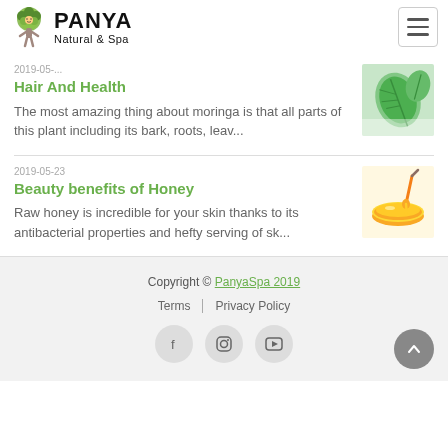PANYA Natural & Spa
Hair And Health
The most amazing thing about moringa is that all parts of this plant including its bark, roots, leav...
Beauty benefits of Honey
Raw honey is incredible for your skin thanks to its antibacterial properties and hefty serving of sk...
Copyright © PanyaSpa 2019  Terms  Privacy Policy